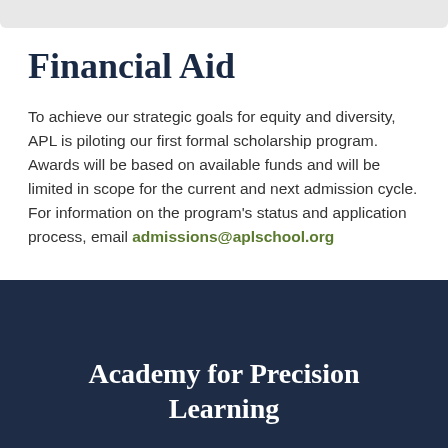Financial Aid
To achieve our strategic goals for equity and diversity, APL is piloting our first formal scholarship program. Awards will be based on available funds and will be limited in scope for the current and next admission cycle. For information on the program's status and application process, email admissions@aplschool.org
Academy for Precision Learning